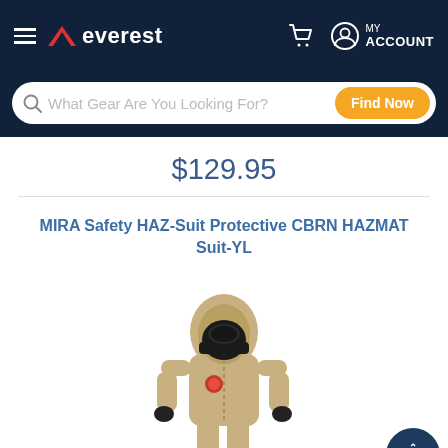everest — MY ACCOUNT
$129.95
MIRA Safety HAZ-Suit Protective CBRN HAZMAT Suit-YL
[Figure (photo): Person wearing a tan/beige full-body CBRN HAZMAT protective suit with hood and black gas mask, black gloves, standing against white background]